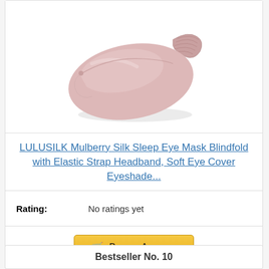[Figure (photo): A pink/rose gold satin silk sleep eye mask blindfold with an elastic strap/headband, photographed on a white background.]
LULUSILK Mulberry Silk Sleep Eye Mask Blindfold with Elastic Strap Headband, Soft Eye Cover Eyeshade...
Rating: No ratings yet
Buy on Amazon
Bestseller No. 10